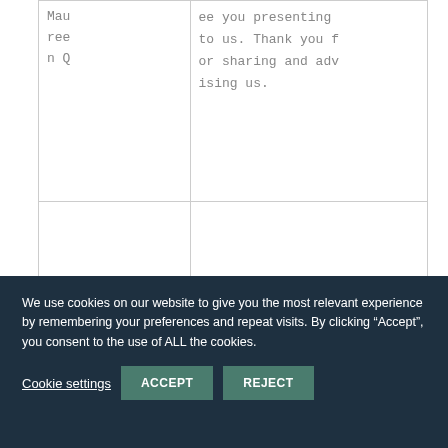| Maureen Q | ee you presenting to us. Thank you for sharing and advising us. |
|  |  |
|  |  |
We use cookies on our website to give you the most relevant experience by remembering your preferences and repeat visits. By clicking “Accept”, you consent to the use of ALL the cookies.
Cookie settings  ACCEPT  REJECT